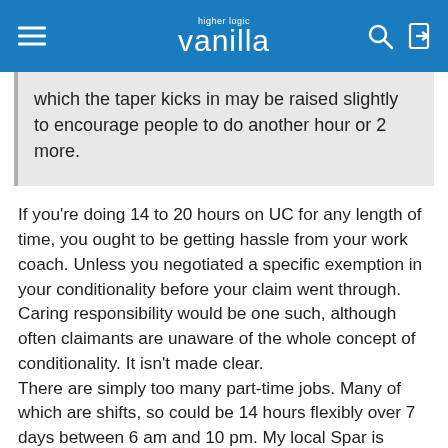higher logic vanilla
which the taper kicks in may be raised slightly to encourage people to do another hour or 2 more.
If you're doing 14 to 20 hours on UC for any length of time, you ought to be getting hassle from your work coach. Unless you negotiated a specific exemption in your conditionality before your claim went through. Caring responsibility would be one such, although often claimants are unaware of the whole concept of conditionality. It isn't made clear.
There are simply too many part-time jobs. Many of which are shifts, so could be 14 hours flexibly over 7 days between 6 am and 10 pm. My local Spar is advertising for just such. And many don't offer an hour or two more.
So, then you have to find two 16 hour jobs which fit